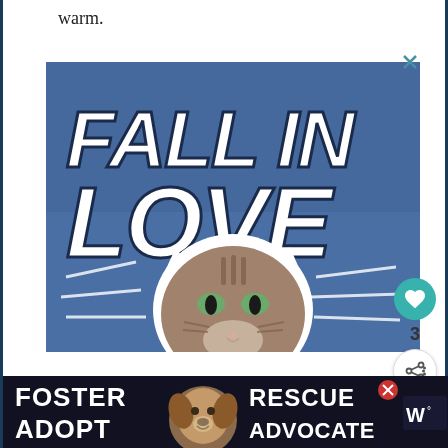warm.
[Figure (illustration): Advertisement banner with blue background showing 'FALL IN LOVE' text in large bold white/dark letters with a cat photo in the center and decorative lines. A close (X) button in the top right corner.]
[Figure (infographic): Heart (like) button in teal circle with count of 3 below it, and a share button below that.]
3
[Figure (illustration): What's Next widget showing thumbnail image of food and text 'Zucchini Noodles and...']
WHAT'S NEXT →
Zucchini Noodles and...
[Figure (illustration): Bottom banner advertisement with dark background showing 'FOSTER ADOPT' and 'RESCUE ADVOCATE' text with a dog photo in the center. WeatherBug logo on the right side. Close button in top right.]